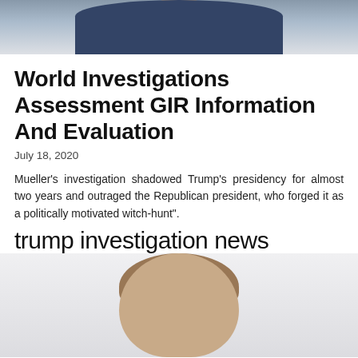[Figure (photo): Top portion of a person's head/shoulders, wearing a dark suit jacket, cropped at the top of the page.]
World Investigations Assessment GIR Information And Evaluation
July 18, 2020
Mueller's investigation shadowed Trump's presidency for almost two years and outraged the Republican president, who forged it as a politically motivated witch-hunt".
trump investigation news
[Figure (photo): Portrait photo of a middle-aged man with gray-brown hair, looking directly at the camera, cropped at the bottom of the page.]